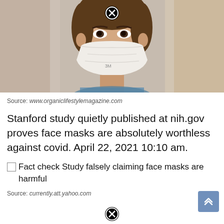[Figure (photo): Woman wearing a white 3M N95 face mask, close-up portrait photo with blurred background. A black close (X) button overlays the top center of the image.]
Source: www.organiclifestylemagazine.com
Stanford study quietly published at nih.gov proves face masks are absolutely worthless against covid. April 22, 2021 10:10 am.
Fact check Study falsely claiming face masks are harmful
Source: currently.att.yahoo.com